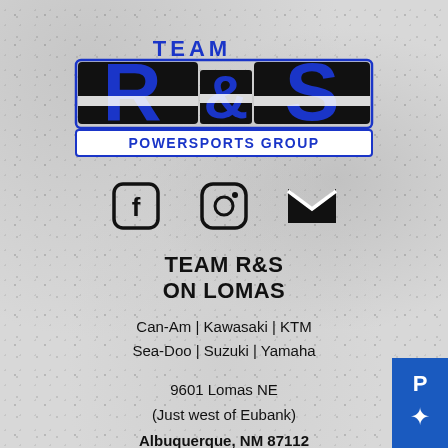[Figure (logo): Team R&S Powersports Group logo in blue and black with white stripe accents]
[Figure (infographic): Three social media icons: Facebook, Instagram, and Email (envelope)]
TEAM R&S
ON LOMAS
Can-Am | Kawasaki | KTM
Sea-Doo | Suzuki | Yamaha
9601 Lomas NE
(Just west of Eubank)
Albuquerque, NM 87112
[Figure (logo): Polaris dealer badge in blue, partially visible at bottom right corner]